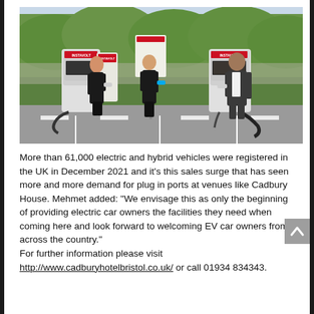[Figure (photo): Three people standing in front of InstaVolt EV charging stations in a car park with green hedge background. Two women in black outfits on the left holding charging connectors, and a man in a suit on the right also holding a charging connector.]
More than 61,000 electric and hybrid vehicles were registered in the UK in December 2021 and it's this sales surge that has seen more and more demand for plug in ports at venues like Cadbury House. Mehmet added: "We envisage this as only the beginning of providing electric car owners the facilities they need when coming here and look forward to welcoming EV car owners from across the country." For further information please visit http://www.cadburyhotelbristol.co.uk/ or call 01934 834343.